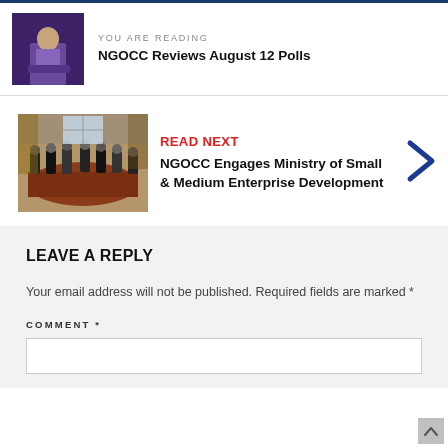YOU ARE READING
NGOCC Reviews August 12 Polls
[Figure (other): Thumbnail of a person at a podium, purple background]
READ NEXT
[Figure (photo): A meeting room scene with people seated around a table]
NGOCC Engages Ministry of Small & Medium Enterprise Development
LEAVE A REPLY
Your email address will not be published. Required fields are marked *
COMMENT *